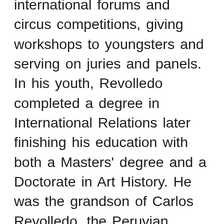international forums and circus competitions, giving workshops to youngsters and serving on juries and panels. In his youth, Revolledo completed a degree in International Relations later finishing his education with both a Masters' degree and a Doctorate in Art History. He was the grandson of Carlos Revolledo, the Peruvian circus artist and director; and was also the nephew of master juggler Rudy Cardenas. He is survived by his brothers Carlos and Marco Antonio, as well as by his nephews.
Dr. Revolledo's most recent efforts were political. As an ardent supporter of Mexico's circus traditions, he worked with the Mexican